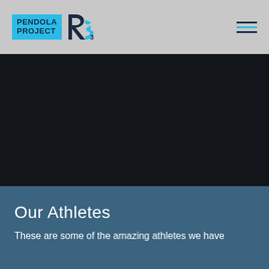Pendola Project R3
[Figure (photo): Dark hero image background, nearly black]
Our Athletes
These are some of the amazing athletes we have